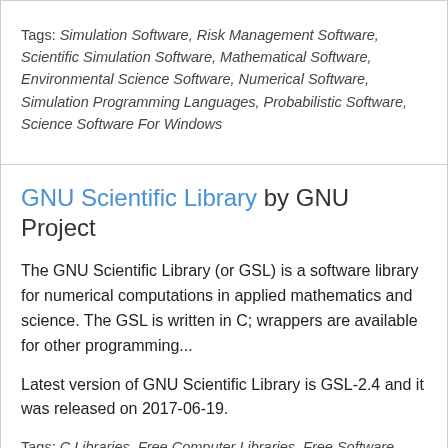Tags: Simulation Software, Risk Management Software, Scientific Simulation Software, Mathematical Software, Environmental Science Software, Numerical Software, Simulation Programming Languages, Probabilistic Software, Science Software For Windows
GNU Scientific Library by GNU Project
The GNU Scientific Library (or GSL) is a software library for numerical computations in applied mathematics and science. The GSL is written in C; wrappers are available for other programming...
Latest version of GNU Scientific Library is GSL-2.4 and it was released on 2017-06-19.
Tags: C Libraries, Free Computer Libraries, Free Software Programmed In C, Gnu Project Software, Mathematical Libraries, Numerical Libraries, Numerical Software